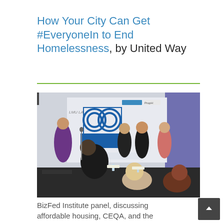How Your City Can Get #EveryoneIn to End Homelessness, by United Way
[Figure (photo): A panel discussion at a BizFed Institute event with several participants seated on a stage with an '88 Cities Summit' banner in the background. A woman in a purple dress stands at a microphone on the left, and audience members are visible in the foreground.]
BizFed Institute panel, discussing affordable housing, CEQA, and the